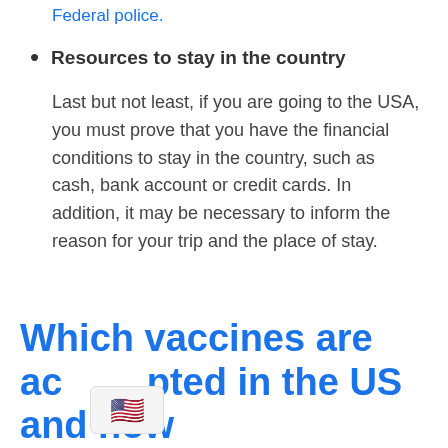Federal police.
Resources to stay in the country
Last but not least, if you are going to the USA, you must prove that you have the financial conditions to stay in the country, such as cash, bank account or credit cards. In addition, it may be necessary to inform the reason for your trip and the place of stay.
Which vaccines are accepted in the US and how